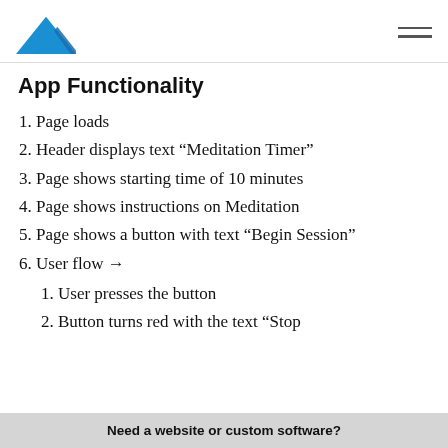[Logo: mountain icon] [Hamburger menu]
App Functionality
1. Page loads
2. Header displays text “Meditation Timer”
3. Page shows starting time of 10 minutes
4. Page shows instructions on Meditation
5. Page shows a button with text “Begin Session”
6. User flow →
1. User presses the button
2. Button turns red with the text “Stop
Need a website or custom software?